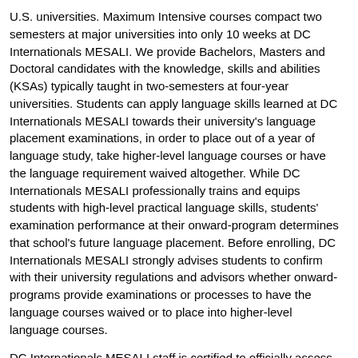U.S. universities. Maximum Intensive courses compact two semesters at major universities into only 10 weeks at DC Internationals MESALI. We provide Bachelors, Masters and Doctoral candidates with the knowledge, skills and abilities (KSAs) typically taught in two-semesters at four-year universities. Students can apply language skills learned at DC Internationals MESALI towards their university's language placement examinations, in order to place out of a year of language study, take higher-level language courses or have the language requirement waived altogether. While DC Internationals MESALI professionally trains and equips students with high-level practical language skills, students' examination performance at their onward-program determines that school's future language placement. Before enrolling, DC Internationals MESALI strongly advises students to confirm with their university regulations and advisors whether onward-programs provide examinations or processes to have the language courses waived or to place into higher-level language courses.
DC Internationals MESALI staff is certified to officially assess, place, and provide certified placements at MESALI. Our staff provides official certification for completion of MESALI course work that students can submit to onboard programs.